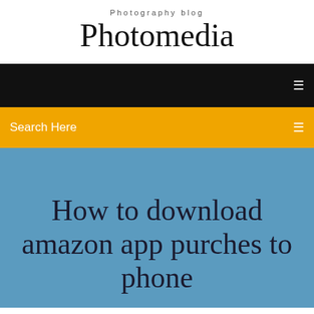Photography blog
Photomedia
[Figure (screenshot): Black navigation bar with a hamburger/menu icon on the right]
Search Here
How to download amazon app purches to phone